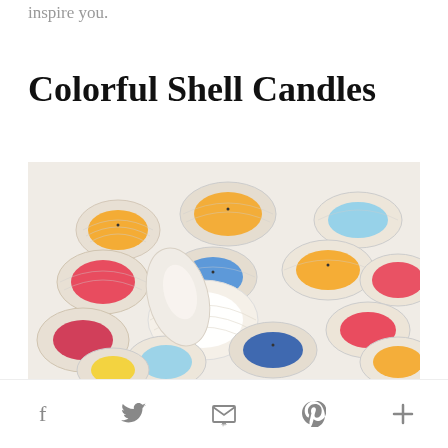inspire you.
Colorful Shell Candles
[Figure (photo): Photograph of colorful shell candles — white seashells filled with orange, pink, blue, red, yellow, and teal colored wax candles arranged together on a white surface.]
Social share icons: Facebook, Twitter, Email, Pinterest, More